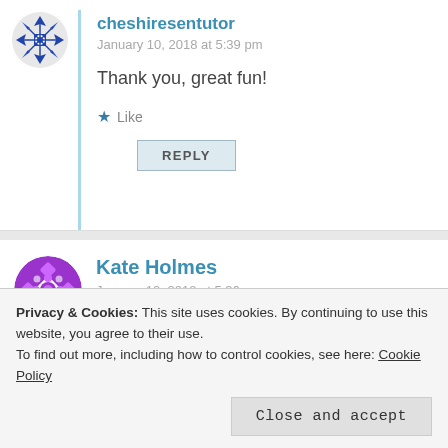[Figure (illustration): Avatar icon for cheshiresentutor - blue geometric snowflake/diamond pattern avatar]
cheshiresentutor
January 10, 2018 at 5:39 pm
Thank you, great fun!
Like
REPLY
[Figure (illustration): Avatar icon for Kate Holmes - purple geometric diamond/floral pattern avatar]
Kate Holmes
January 10, 2018 at 5:36 pm
Looks like a lot of fun today and anything to do with dinosaurs is always a hit. Found you via
Privacy & Cookies: This site uses cookies. By continuing to use this website, you agree to their use.
To find out more, including how to control cookies, see here: Cookie Policy
Close and accept